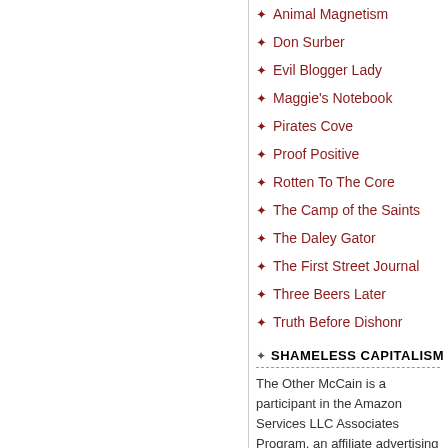Animal Magnetism
Don Surber
Evil Blogger Lady
Maggie's Notebook
Pirates Cove
Proof Positive
Rotten To The Core
The Camp of the Saints
The Daley Gator
The First Street Journal
Three Beers Later
Truth Before Dishonr
SHAMELESS CAPITALISM
The Other McCain is a participant in the Amazon Services LLC Associates Program, an affiliate advertising program designed to provide a means for this blog to earn fees by linking to